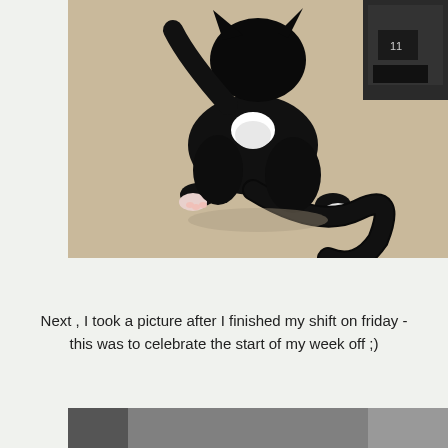[Figure (photo): A black cat with white chest and white paws lying on a beige/cream carpet on its back, stretching out. A dark colored shoe box with the number 11 is visible in the upper right corner.]
Next , I took a picture after I finished my shift on friday - this was to celebrate the start of my week off ;)
[Figure (photo): Partially visible photo at the bottom of the page, appears to show a dark surface.]